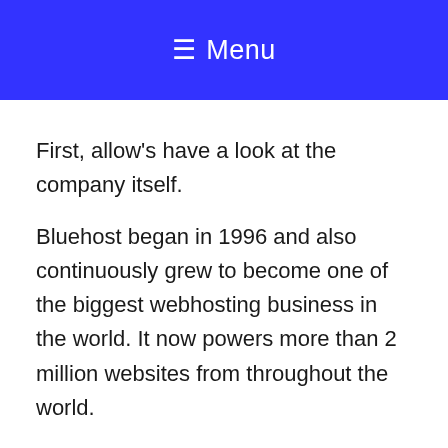≡ Menu
First, allow's have a look at the company itself.
Bluehost began in 1996 and also continuously grew to become one of the biggest webhosting business in the world. It now powers more than 2 million websites from throughout the world.
Bluehost has an enduring relationship with the WordPress community. They